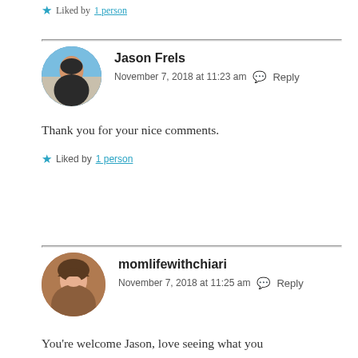★ Liked by 1 person
Jason Frels
November 7, 2018 at 11:23 am  Reply
Thank you for your nice comments.
★ Liked by 1 person
momlifewithchiari
November 7, 2018 at 11:25 am  Reply
You're welcome Jason, love seeing what you